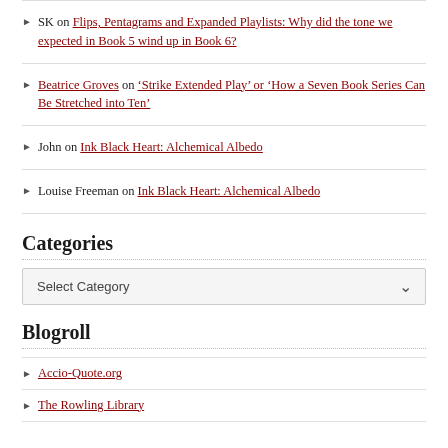SK on Flips, Pentagrams and Expanded Playlists: Why did the tone we expected in Book 5 wind up in Book 6?
Beatrice Groves on 'Strike Extended Play' or 'How a Seven Book Series Can Be Stretched into Ten'
John on Ink Black Heart: Alchemical Albedo
Louise Freeman on Ink Black Heart: Alchemical Albedo
Categories
Select Category
Blogroll
Accio-Quote.org
The Rowling Library